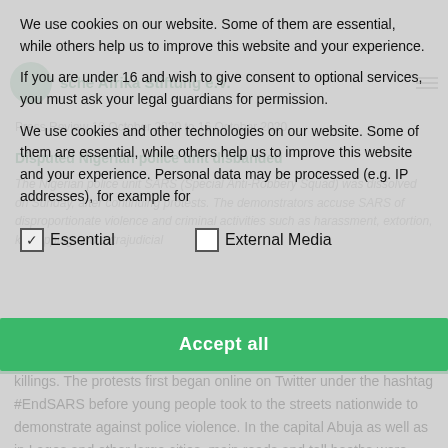[Figure (screenshot): Background website screenshot showing Friedrich Naumann Stiftung Africa website with article about disputed Nigerian police unit SARS being disbanded, partially obscured by cookie consent overlay]
We use cookies on our website. Some of them are essential, while others help us to improve this website and your experience.
If you are under 16 and wish to give consent to optional services, you must ask your legal guardians for permission.
We use cookies and other technologies on our website. Some of them are essential, while others help us to improve this website and your experience. Personal data may be processed (e.g. IP addresses), for example for
Essential   External Media
Accept all
killings. The protests first began online on Twitter under the hashtag #EndSARS before young people took to the streets nationwide to demonstrate against police violence. In the capital Abuja as well as in Lagos and other large cities, main roads and toll booths were blocked. Despite the announcement of the dissolution of the infamous special unit, daily